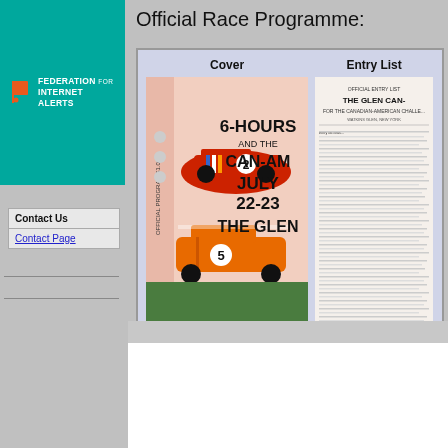[Figure (logo): Federation for Internet Alerts logo with teal background, orange flag icon and white text]
Contact Us
Contact Page
Official Race Programme:
[Figure (screenshot): Race programme box with Cover and Entry List columns. Cover shows a racing programme for 6-Hours and the CAN-AM July 22-23 The Glen with race car illustrations. Entry List shows Official Entry List for The Glen Can-Am for the Canadian-American Challenge.]
Screen resolution 800x